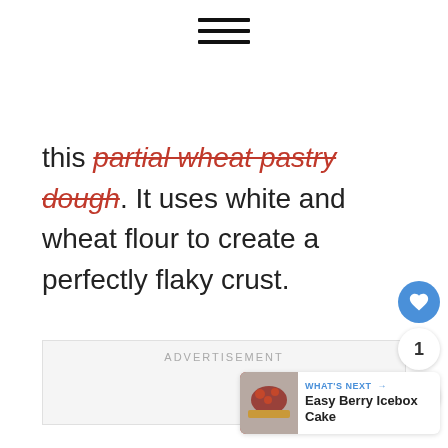[Figure (other): Hamburger menu icon (three horizontal lines)]
this partial wheat pastry dough. It uses white and wheat flour to create a perfectly flaky crust.
ADVERTISEMENT
[Figure (other): Heart/like button (blue circle with white heart icon), count '1', and share button]
WHAT'S NEXT → Easy Berry Icebox Cake